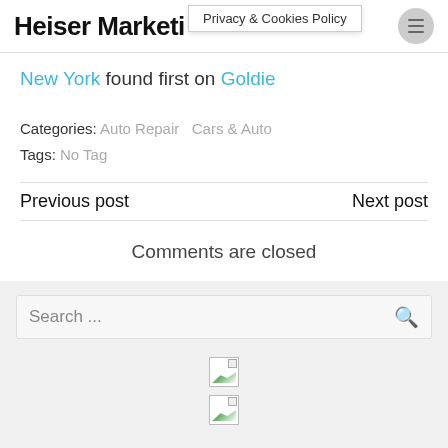Heiser Marketing
Privacy & Cookies Policy
New York found first on Goldie
Categories: Auto Repair Cars & Auto
Tags: No Tag
Previous post    Next post
Comments are closed
Search ...
[Figure (photo): Broken image icon 1]
[Figure (photo): Broken image icon 2]